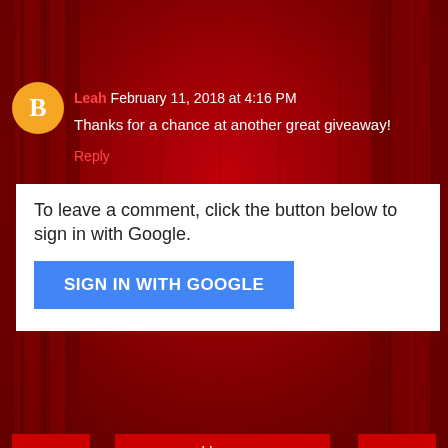Leah February 11, 2018 at 4:16 PM
Thanks for a chance at another great giveaway!
Reply
To leave a comment, click the button below to sign in with Google.
SIGN IN WITH GOOGLE
Home
View web version
The Fine Print!
Home
Powered by